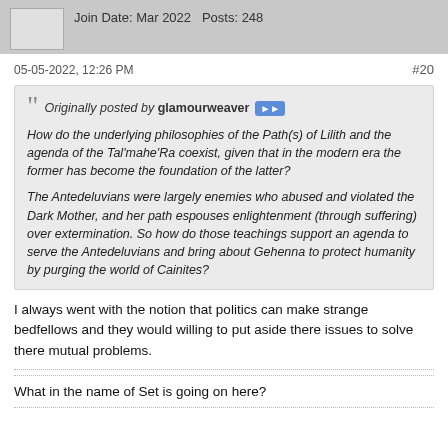Join Date: Mar 2022   Posts: 248
05-05-2022, 12:26 PM  #20
Originally posted by glamourweaver
How do the underlying philosophies of the Path(s) of Lilith and the agenda of the Tal'mahe'Ra coexist, given that in the modern era the former has become the foundation of the latter?

The Antedeluvians were largely enemies who abused and violated the Dark Mother, and her path espouses enlightenment (through suffering) over extermination. So how do those teachings support an agenda to serve the Antedeluvians and bring about Gehenna to protect humanity by purging the world of Cainites?
I always went with the notion that politics can make strange bedfellows and they would willing to put aside there issues to solve there mutual problems.
What in the name of Set is going on here?